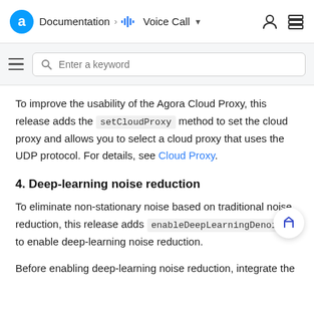Documentation > Voice Call
Enter a keyword
To improve the usability of the Agora Cloud Proxy, this release adds the setCloudProxy method to set the cloud proxy and allows you to select a cloud proxy that uses the UDP protocol. For details, see Cloud Proxy.
4. Deep-learning noise reduction
To eliminate non-stationary noise based on traditional noise reduction, this release adds enableDeepLearningDenoise to enable deep-learning noise reduction.
Before enabling deep-learning noise reduction, integrate the Agora RTC native SDK by integrating from source code.